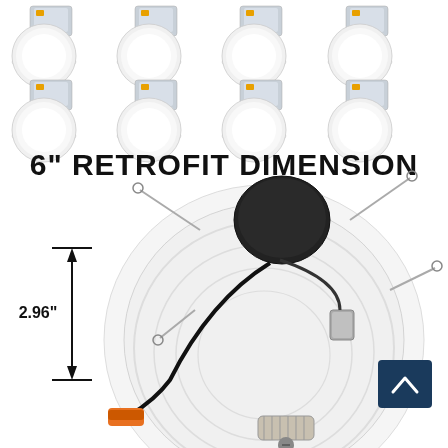[Figure (photo): Product image showing 6 inch LED retrofit recessed light fixtures. Top portion shows 8 units (4 per row, 2 rows) each consisting of a round white LED panel and a driver box. Bottom portion shows a single unit from below with dimension arrow indicating 2.96 inch height, with visible mounting springs, orange wire connector, black driver box on top, and E26 bulb base at bottom. Text reads '6" RETROFIT DIMENSION'. A dark blue scroll-to-top button with caret is visible at bottom right.]